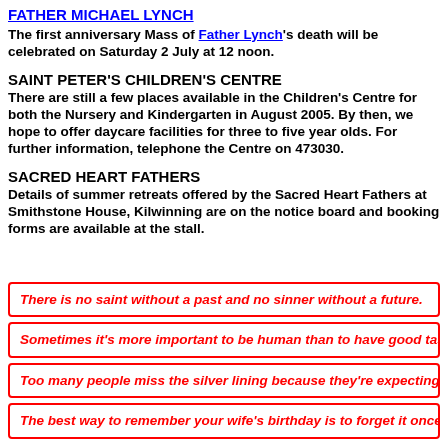FATHER MICHAEL LYNCH
The first anniversary Mass of Father Lynch's death will be celebrated on Saturday 2 July at 12 noon.
SAINT PETER'S CHILDREN'S CENTRE
There are still a few places available in the Children's Centre for both the Nursery and Kindergarten in August 2005. By then, we hope to offer daycare facilities for three to five year olds. For further information, telephone the Centre on 473030.
SACRED HEART FATHERS
Details of summer retreats offered by the Sacred Heart Fathers at Smithstone House, Kilwinning are on the notice board and booking forms are available at the stall.
There is no saint without a past and no sinner without a future.
Sometimes it's more important to be human than to have good taste.
Too many people miss the silver lining because they're expecting gold.
The best way to remember your wife's birthday is to forget it once.